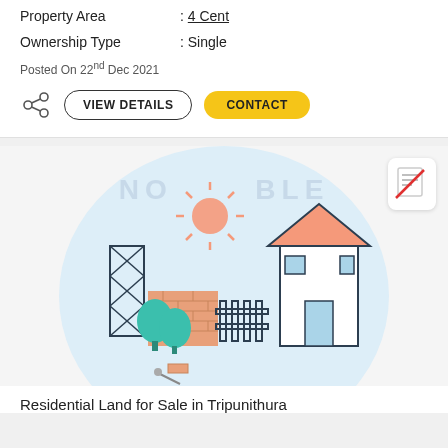Property ID : 18477633
Property Area : 4 Cent
Ownership Type : Single
Posted On 22nd Dec 2021
VIEW DETAILS  CONTACT
[Figure (illustration): Real estate listing illustration showing a house under construction with trees, brick wall, fence, sunshine, and construction tower on a light blue circular background. Watermark text 'NO IMAGE AVAILABLE' overlaid.]
Residential Land for Sale in Tripunithura